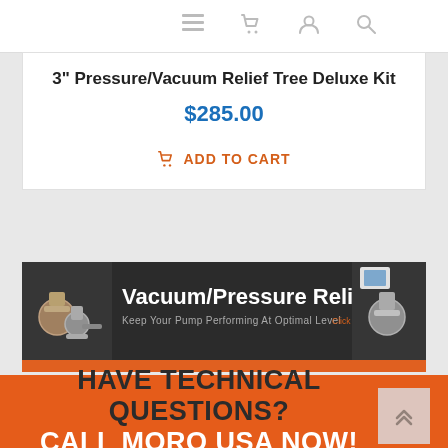Navigation bar with menu, cart, account, and search icons
3" Pressure/Vacuum Relief Tree Deluxe Kit
$285.00
ADD TO CART
[Figure (infographic): Vacuum/Pressure Relief Tree banner ad on dark background with product images. Text: 'Vacuum/Pressure Relief Tree - Keep Your Pump Performing At Optimal Level - Click Here to Learn More']
HAVE TECHNICAL QUESTIONS? CALL MORO USA NOW!